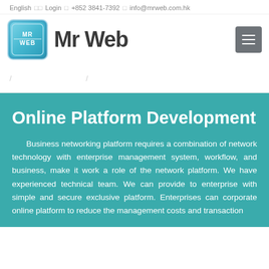English | Login | +852 3841-7392 | info@mrweb.com.hk
[Figure (logo): Mr Web company logo — teal square icon with 'MR WEB' text, followed by bold 'Mr Web' text]
/ /
Online Platform Development
Business networking platform requires a combination of network technology with enterprise management system, workflow, and business, make it work a role of the network platform. We have experienced technical team. We can provide to enterprise with simple and secure exclusive platform. Enterprises can corporate online platform to reduce the management costs and transaction